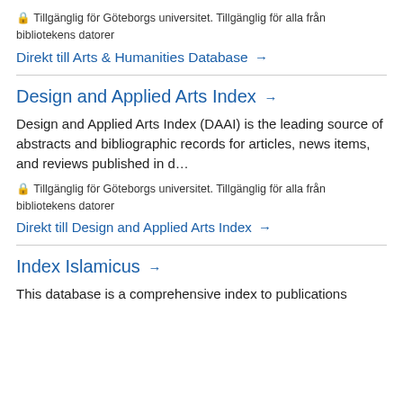🔒 Tillgänglig för Göteborgs universitet. Tillgänglig för alla från bibliotekens datorer
Direkt till Arts & Humanities Database →
Design and Applied Arts Index →
Design and Applied Arts Index (DAAI) is the leading source of abstracts and bibliographic records for articles, news items, and reviews published in d…
🔒 Tillgänglig för Göteborgs universitet. Tillgänglig för alla från bibliotekens datorer
Direkt till Design and Applied Arts Index →
Index Islamicus →
This database is a comprehensive index to publications